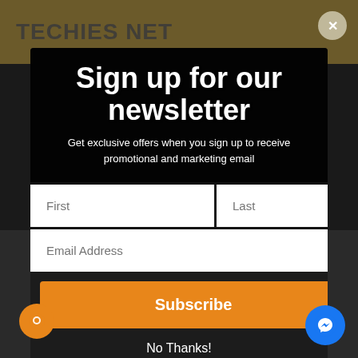TECHIES NET
Sign up for our newsletter
Get exclusive offers when you sign up to receive promotional and marketing email
[Figure (screenshot): Newsletter signup popup modal over a dark background showing hard drive product page. Contains First/Last name fields, Email Address field, orange Subscribe button, and No Thanks link. Background shows hard drive specs and images.]
Subscribe
No Thanks!